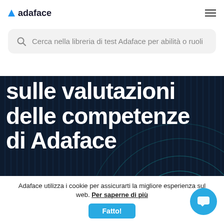adaface
Cerca nella libreria di test Adaface per abilità o ruoli
sulle valutazioni delle competenze di Adaface
Adaface utilizza i cookie per assicurarti la migliore esperienza sul web. Per saperne di più
Fatto!